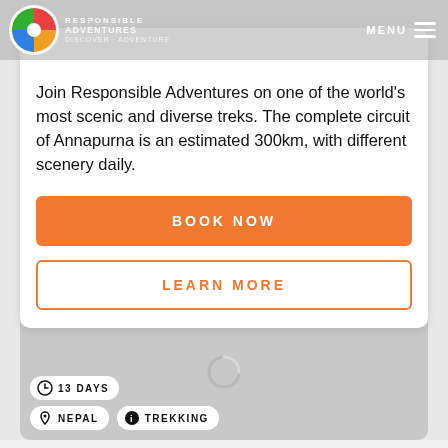MENU
Join Responsible Adventures on one of the world's most scenic and diverse treks. The complete circuit of Annapurna is an estimated 300km, with different scenery daily.
BOOK NOW
LEARN MORE
[Figure (photo): Gray placeholder image card with a loading spinner, showing trip badges: 13 DAYS, NEPAL, TREKKING]
13 DAYS
NEPAL
TREKKING